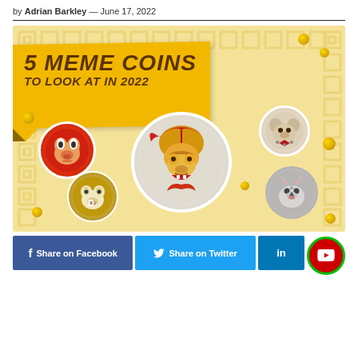by Adrian Barkley — June 17, 2022
[Figure (illustration): Promotional infographic banner reading '5 Meme Coins to Look at in 2022' on a yellow/beige background with Greek key border pattern, featuring circular coin logos: Shiba Inu (red circle with dog face), Dogecoin (gold circle with Doge dog), a large central Spartan warrior helmet coin (white/grey circle), a hamster face coin (beige circle), and a wolf/cat face coin (grey circle). Scattered gold coins around the image.]
[Figure (infographic): Social share bar with Facebook (blue), Twitter (light blue), LinkedIn (dark blue), and YouTube (red with green border) share buttons.]